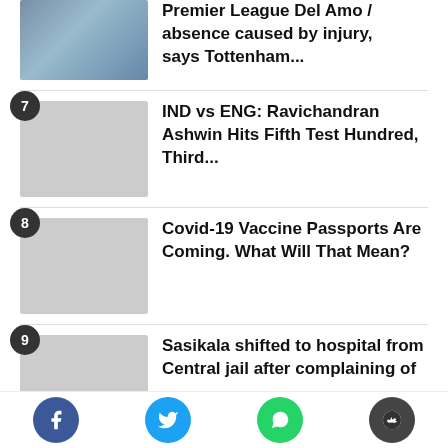[Figure (photo): Cricket player at top, partial image cut off, showing white cricket uniform]
Premier League Del Amo / absence caused by injury, says Tottenham...
[Figure (photo): Cricket batsman hitting a shot, number 7 badge, crowd and advertising boards visible]
IND vs ENG: Ravichandran Ashwin Hits Fifth Test Hundred, Third...
[Figure (photo): Covid-19 vaccination card being held, number 8 badge]
Covid-19 Vaccine Passports Are Coming. What Will That Mean?
[Figure (photo): Woman politician Sasikala in crowd, number 9 badge]
Sasikala shifted to hospital from Central jail after complaining of